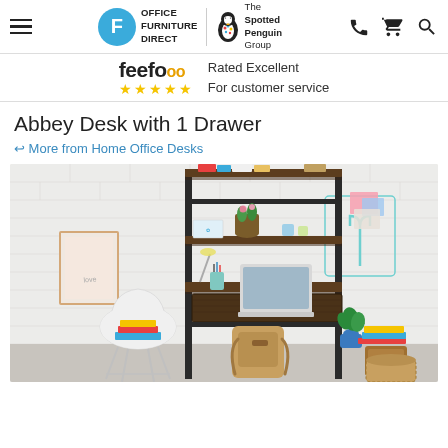Office Furniture Direct | The Spotted Penguin Group — navigation header
feefo — Rated Excellent For customer service
Abbey Desk with 1 Drawer
↩ More from Home Office Desks
[Figure (photo): Product photo of Abbey Desk with 1 Drawer — a leaning ladder-style desk with dark wood shelves and black metal frame, shown styled in a room with a white chair, laptop, books, and plants against a white brick wall.]